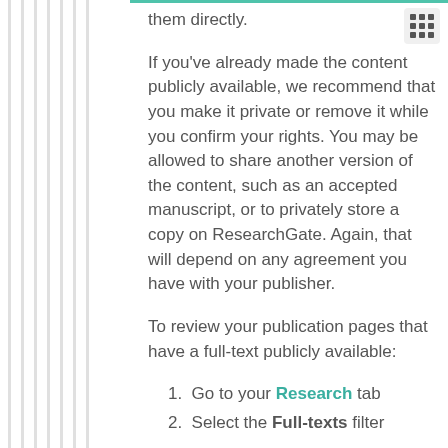them directly.
If you've already made the content publicly available, we recommend that you make it private or remove it while you confirm your rights. You may be allowed to share another version of the content, such as an accepted manuscript, or to privately store a copy on ResearchGate. Again, that will depend on any agreement you have with your publisher.
To review your publication pages that have a full-text publicly available:
Go to your Research tab
Select the Full-texts filter